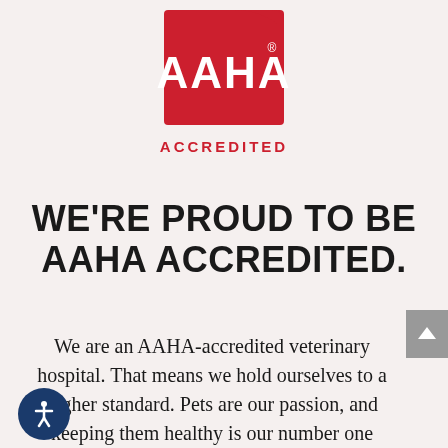[Figure (logo): AAHA Accredited logo — red square with rounded top-right corner containing white 'AAHA' text with registered trademark symbol, and red 'ACCREDITED' text below]
WE'RE PROUD TO BE AAHA ACCREDITED.
We are an AAHA-accredited veterinary hospital. That means we hold ourselves to a higher standard. Pets are our passion, and keeping them healthy is our number one priority. We strive to deliver excellent care for pets because your pets deserve nothing less.